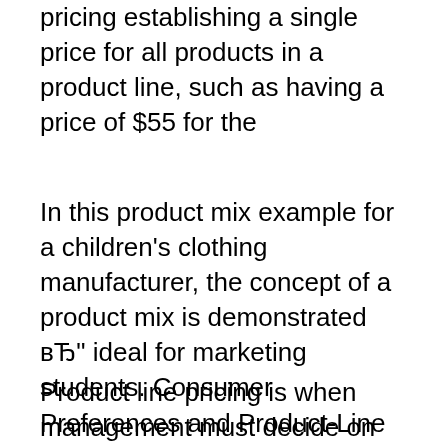pricing establishing a single price for all products in a product line, such as having a price of $55 for the
In this product mix example for a children's clothing manufacturer, the concept of a product mix is demonstrated вЂ" ideal for marketing students. Consumer Preferences and Product-Line Pricing Strategies: An Empirical Analysis. Consumer Preferences and Product-line Pricing Product-line Pricing
Product line pricing is when management must decide on the price steps to set between the various products in a line (pp. 372). In the